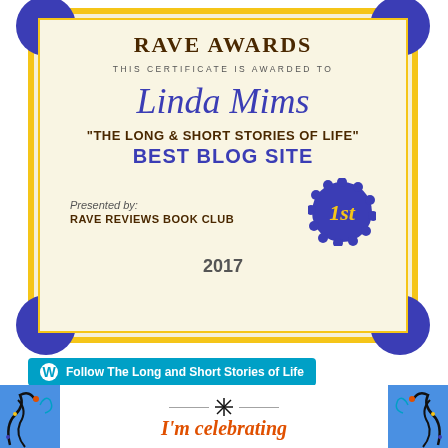[Figure (illustration): Rave Awards certificate with blue corner decorations, yellow border, cream background. Awarded to Linda Mims for 'The Long & Short Stories of Life' Best Blog Site. Presented by Rave Reviews Book Club with a 1st place badge. Year 2017.]
[Figure (illustration): WordPress follow button: 'Follow The Long and Short Stories of Life' in teal/cyan rounded rectangle with WordPress logo icon.]
[Figure (illustration): Blue celebration banner with white center panel showing scrollwork decorations and 'I'm celebrating' in italic red text.]